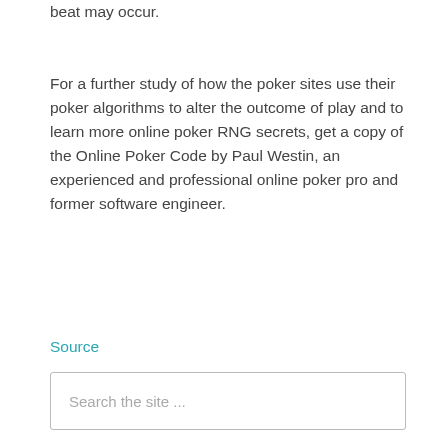beat may occur.
For a further study of how the poker sites use their poker algorithms to alter the outcome of play and to learn more online poker RNG secrets, get a copy of the Online Poker Code by Paul Westin, an experienced and professional online poker pro and former software engineer.
Source
Filed Under: Casinos
Search the site ...